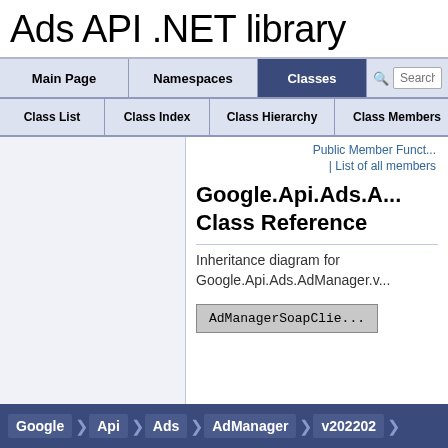Ads API .NET library
Main Page | Namespaces | Classes | Search
Class List | Class Index | Class Hierarchy | Class Members
Public Member Funct...
| List of all members
Google.Api.Ads.A... Class Reference
Inheritance diagram for Google.Api.Ads.AdManager.v...
[Figure (other): AdManagerSoapClie... diagram box]
Google > Api > Ads > AdManager > v202202